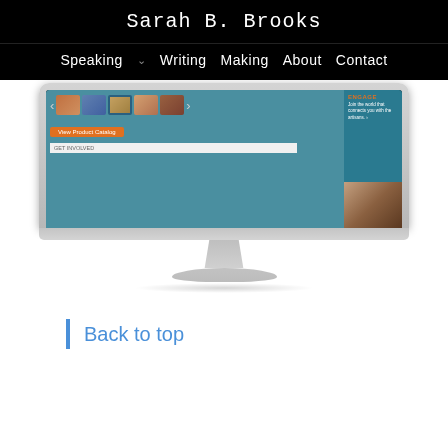Sarah B. Brooks
Speaking   Writing   Making   About   Contact
[Figure (screenshot): iMac desktop monitor displaying a website screenshot with product images, an orange 'View Product Catalog' button, an 'ENGAGE' section in teal, and a photo of a person. The iMac has a silver frame, Apple logo on the chin, and a stand with a base.]
Back to top